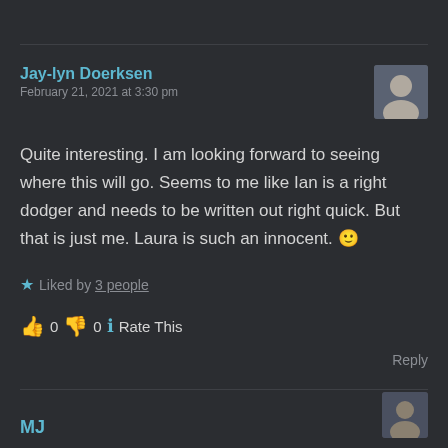Jay-lyn Doerksen
February 21, 2021 at 3:30 pm
Quite interesting. I am looking forward to seeing where this will go. Seems to me like Ian is a right dodger and needs to be written out right quick. But that is just me. Laura is such an innocent. 🙂
★ Liked by 3 people
👍 0 👎 0 ℹ️ Rate This
Reply
MJ